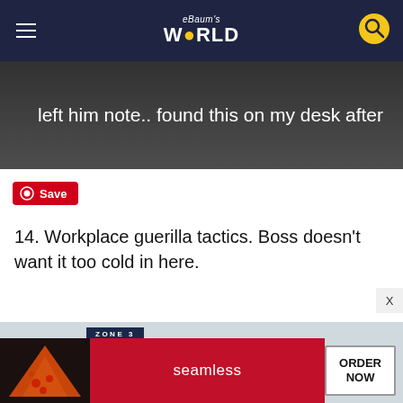eBaum's World
[Figure (photo): Partial image of a note left on a desk, white text on dark background reading 'left him note.. found this on my desk after']
Save
14. Workplace guerilla tactics. Boss doesn't want it too cold in here.
[Figure (photo): Photo of a thermostat on a wall labeled 'ZONE 3']
[Figure (other): Seamless food delivery advertisement with pizza image and 'ORDER NOW' button]